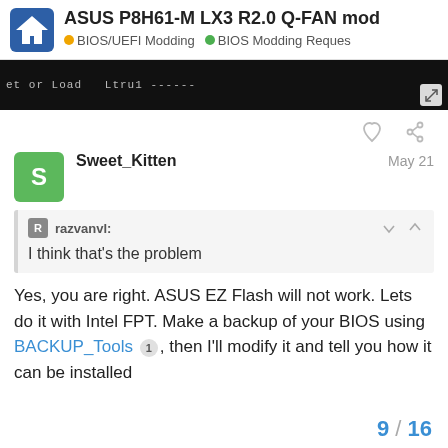ASUS P8H61-M LX3 R2.0 Q-FAN mod | BIOS/UEFI Modding | BIOS Modding Reques
[Figure (screenshot): Partial screenshot of a dark terminal/BIOS screen showing text 'et or Load' and some blurred content]
razvanvl: I think that's the problem
Yes, you are right. ASUS EZ Flash will not work. Lets do it with Intel FPT. Make a backup of your BIOS using BACKUP_Tools 1 , then I'll modify it and tell you how it can be installed
9 / 16